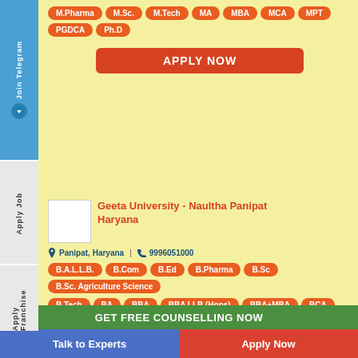M.Pharma, M.Sc., M.Tech, MA, MBA, MCA, MPT, PGDCA, Ph.D
APPLY NOW
Geeta University - Naultha Panipat Haryana
Panipat, Haryana | 9996051000
B.A.L.L.B., B.Com, B.Ed, B.Pharma, B.Sc, B.Sc. Agriculture Science, B.Tech, BA, BBA, BBA LLB (Hons), BBA+MBA, BCA, D. Pharmacy, D.Ed, Diploma, Diploma Engineering, L.L.B., L.L.M., M.Com, M.Ed., M.Sc Agriculture, M.Sc., M.Tech, MA, MBA, MCA, Ph.D
GET FREE COUNSELLING NOW
Talk to Experts
Apply Now